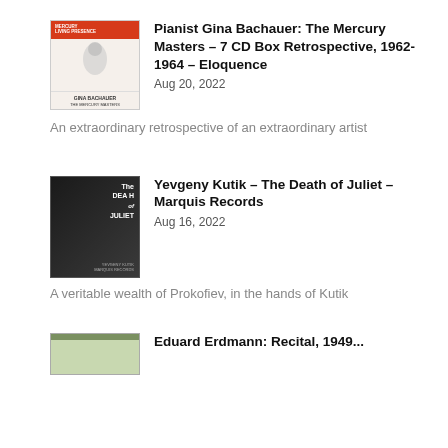[Figure (photo): Album cover for Pianist Gina Bachauer: The Mercury Masters, Mercury Living Presence red label]
Pianist Gina Bachauer: The Mercury Masters – 7 CD Box Retrospective, 1962-1964 – Eloquence
Aug 20, 2022
An extraordinary retrospective of an extraordinary artist
[Figure (photo): Album cover for Yevgeny Kutik – The Death of Juliet – Marquis Records, dark cover with violinist]
Yevgeny Kutik – The Death of Juliet – Marquis Records
Aug 16, 2022
A veritable wealth of Prokofiev, in the hands of Kutik
[Figure (photo): Partially visible album cover at bottom of page]